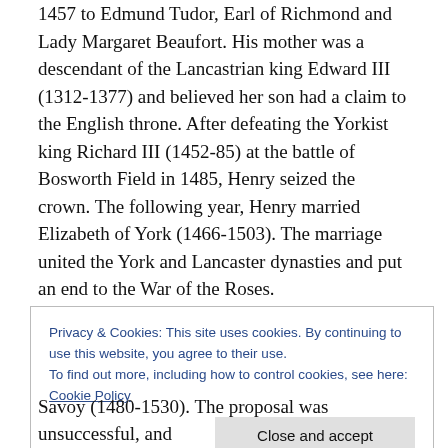1457 to Edmund Tudor, Earl of Richmond and Lady Margaret Beaufort. His mother was a descendant of the Lancastrian king Edward III (1312-1377) and believed her son had a claim to the English throne. After defeating the Yorkist king Richard III (1452-85) at the battle of Bosworth Field in 1485, Henry seized the crown. The following year, Henry married Elizabeth of York (1466-1503). The marriage united the York and Lancaster dynasties and put an end to the War of the Roses.
This portrait was produced after the death of Henry's wife.
Privacy & Cookies: This site uses cookies. By continuing to use this website, you agree to their use. To find out more, including how to control cookies, see here: Cookie Policy
Savoy (1480-1530). The proposal was unsuccessful, and